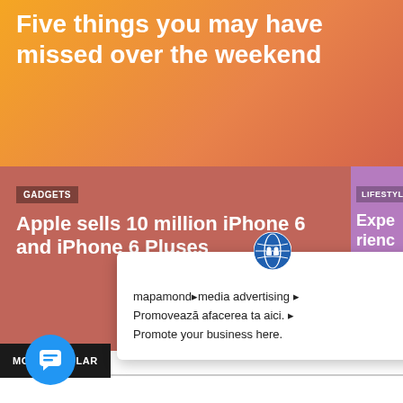Five things you may have missed over the weekend
GADGETS
Apple sells 10 million iPhone 6 and iPhone 6 Pluses
LIFESTYLE
Experienc
[Figure (screenshot): Popup dialog with globe icon showing mapamond media advertising text in Romanian and English: 'Promovează afacerea ta aici. Promote your business here.' with close X button]
MOST POPULAR
[Figure (illustration): Blue circular chat/messaging button with speech bubble icon]